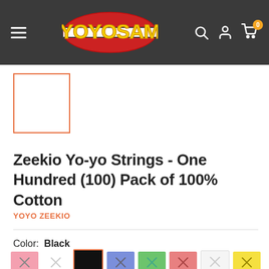[Figure (logo): YoyoSam logo with yellow text on red oval, dark header bar with hamburger menu, search, user, and cart icons]
[Figure (other): Product image thumbnail with orange border, white empty square]
Zeekio Yo-yo Strings - One Hundred (100) Pack of 100% Cotton
YOYO ZEEKIO
Color: Black
[Figure (other): Color swatch row: pink with X, white with X, black (selected/outlined in orange), blue with X, green with X, pink-red with X, white with X, yellow with X]